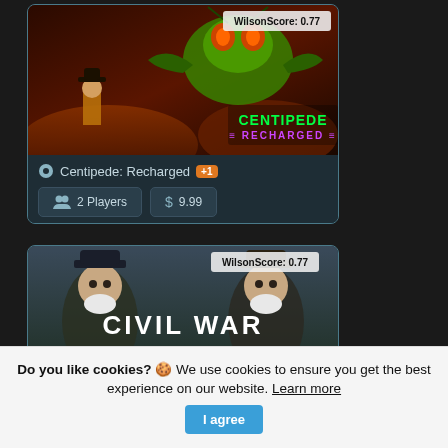[Figure (screenshot): Centipede: Recharged game card with artwork showing a large praying mantis creature and a cowboy character, with neon green game logo. WilsonScore: 0.77 badge in top right.]
Centipede: Recharged +1
2 Players   $  9.99
[Figure (screenshot): Civil War: Battle of Petersburg game card showing two bearded men in hats facing each other with the game title text. WilsonScore: 0.77 badge in top right.]
Do you like cookies? 🍪 We use cookies to ensure you get the best experience on our website. Learn more   I agree